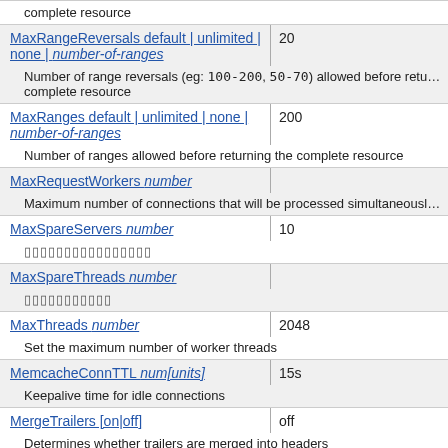| Directive | Default |
| --- | --- |
| complete resource |  |
| MaxRangeReversals default | unlimited | none | number-of-ranges | 20 |
| Number of range reversals (eg: 100-200, 50-70) allowed before returning the complete resource |  |
| MaxRanges default | unlimited | none | number-of-ranges | 200 |
| Number of ranges allowed before returning the complete resource |  |
| MaxRequestWorkers number |  |
| Maximum number of connections that will be processed simultaneously |  |
| MaxSpareServers number | 10 |
| [Thai text] |  |
| MaxSpareThreads number |  |
| [Thai text] |  |
| MaxThreads number | 2048 |
| Set the maximum number of worker threads |  |
| MemcacheConnTTL num[units] | 15s |
| Keepalive time for idle connections |  |
| MergeTrailers [on|off] | off |
| Determines whether trailers are merged into headers |  |
| MetaDir directory | .web |
| Name of the directory to find CERN-style meta information files |  |